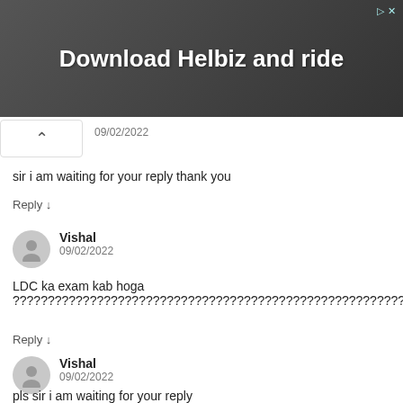[Figure (photo): Advertisement banner image for Helbiz with dark background showing a person with camera equipment. Text reads 'Download Helbiz and ride' in white bold font. An ad close/skip icon is in the top right.]
09/02/2022
sir i am waiting for your reply thank you
Reply ↓
Vishal
09/02/2022
LDC ka exam kab hoga ???????????????????????????????????????????????????????????????????????????????????/
Reply ↓
Vishal
09/02/2022
pls sir i am waiting for your reply